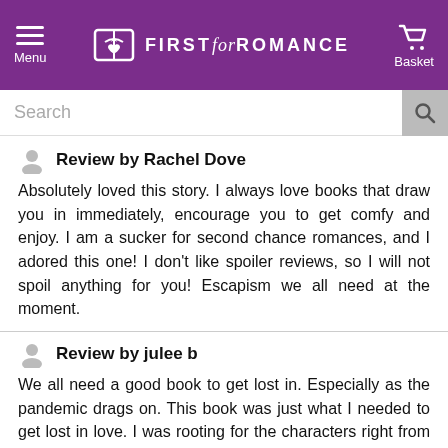FIRST for ROMANCE — Menu | Basket
Search
Review by Rachel Dove
Absolutely loved this story. I always love books that draw you in immediately, encourage you to get comfy and enjoy. I am a sucker for second chance romances, and I adored this one! I don't like spoiler reviews, so I will not spoil anything for you! Escapism we all need at the moment.
Review by julee b
We all need a good book to get lost in. Especially as the pandemic drags on. This book was just what I needed to get lost in love. I was rooting for the characters right from the start. I also loved the moms in the story, they were so sweet and realistic. The backstory of divorce made it very relevant to today's world. Every night I curled up with this book and a